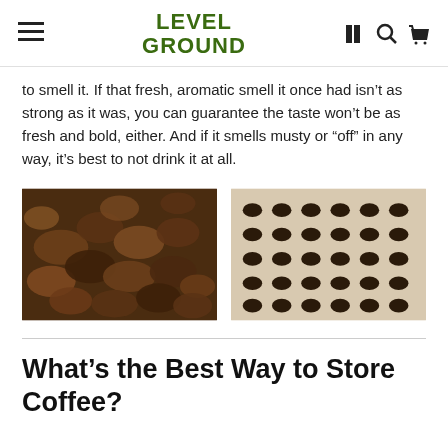LEVEL GROUND
to smell it. If that fresh, aromatic smell it once had isn't as strong as it was, you can guarantee the taste won't be as fresh and bold, either. And if it smells musty or “off” in any way, it’s best to not drink it at all.
[Figure (photo): Close-up photo of roasted coffee beans piled together]
[Figure (photo): Overhead photo of coffee beans arranged in a neat grid on a light beige background]
What’s the Best Way to Store Coffee?